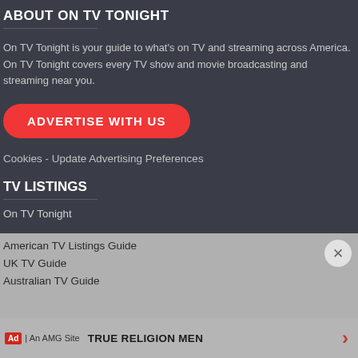ABOUT ON TV TONIGHT
On TV Tonight is your guide to what's on TV and streaming across America. On TV Tonight covers every TV show and movie broadcasting and streaming near you.
ADVERTISE WITH US
Cookies - Update Advertising Preferences
TV LISTINGS
On TV Tonight
American TV Listings Guide
UK TV Guide
Australian TV Guide
TRUE RELIGION MEN
Ad | An AMG Site